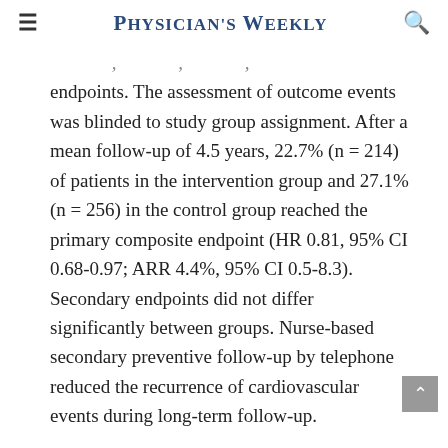Physician's Weekly
endpoints. The assessment of outcome events was blinded to study group assignment. After a mean follow-up of 4.5 years, 22.7% (n = 214) of patients in the intervention group and 27.1% (n = 256) in the control group reached the primary composite endpoint (HR 0.81, 95% CI 0.68-0.97; ARR 4.4%, 95% CI 0.5-8.3). Secondary endpoints did not differ significantly between groups. Nurse-based secondary preventive follow-up by telephone reduced the recurrence of cardiovascular events during long-term follow-up.